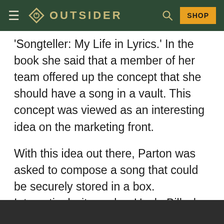OUTSIDER — SHOP
'Songteller: My Life in Lyrics.' In the book she said that a member of her team offered up the concept that she should have a song in a vault. This concept was viewed as an interesting idea on the marketing front.

With this idea out there, Parton was asked to compose a song that could be securely stored in a box. Interestingly, it was her Uncle Bill who designed the box where this unheard Dolly Parton track is currently held. The wooden box is made out of chestnut. Its